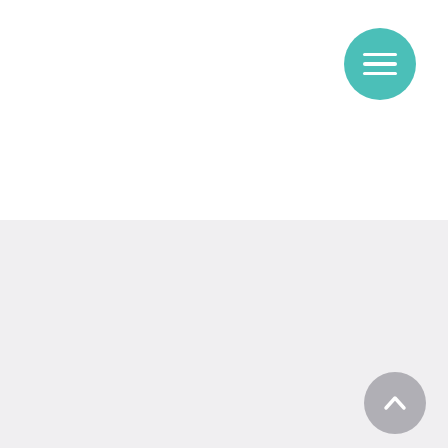[Figure (other): Teal circular hamburger menu button in top right corner of white header area]
Domestic Violence Meditation ~ My Personal and Professional Flip
Dr. Jeanne King, PhD.
[Figure (other): Gray circular scroll-to-top arrow button in bottom right corner]